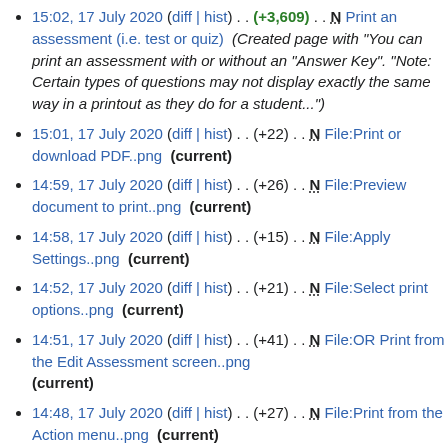15:02, 17 July 2020 (diff | hist) . . (+3,609) . . N Print an assessment (i.e. test or quiz)  (Created page with "You can print an assessment with or without an "Answer Key". "Note: Certain types of questions may not display exactly the same way in a printout as they do for a student...")
15:01, 17 July 2020 (diff | hist) . . (+22) . . N File:Print or download PDF..png  (current)
14:59, 17 July 2020 (diff | hist) . . (+26) . . N File:Preview document to print..png  (current)
14:58, 17 July 2020 (diff | hist) . . (+15) . . N File:Apply Settings..png  (current)
14:52, 17 July 2020 (diff | hist) . . (+21) . . N File:Select print options..png  (current)
14:51, 17 July 2020 (diff | hist) . . (+41) . . N File:OR Print from the Edit Assessment screen..png  (current)
14:48, 17 July 2020 (diff | hist) . . (+27) . . N File:Print from the Action menu..png  (current)
14:38, 17 July 2020 (diff | hist) . . (+7) . . Preview an assessment (i.e. test or quiz)